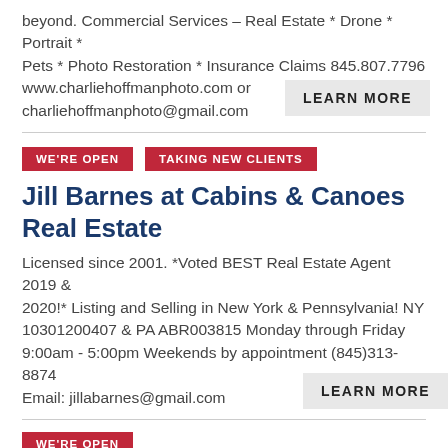beyond. Commercial Services – Real Estate * Drone * Portrait * Pets * Photo Restoration * Insurance Claims 845.807.7796 www.charliehoffmanphoto.com or charliehoffmanphoto@gmail.com
LEARN MORE
WE'RE OPEN
TAKING NEW CLIENTS
Jill Barnes at Cabins & Canoes Real Estate
Licensed since 2001. *Voted BEST Real Estate Agent 2019 & 2020!* Listing and Selling in New York & Pennsylvania! NY 10301200407 & PA ABR003815 Monday through Friday 9:00am - 5:00pm Weekends by appointment (845)313-8874 Email: jillabarnes@gmail.com
LEARN MORE
WE'RE OPEN